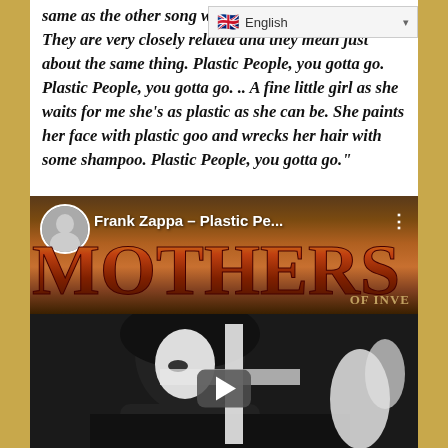same as the other song with on… They are very closely related and they mean just about the same thing. Plastic People, you gotta go. Plastic People, you gotta go. .. A fine little girl as she waits for me she's as plastic as she can be. She paints her face with plastic goo and wrecks her hair with some shampoo. Plastic People, you gotta go."
[Figure (screenshot): YouTube video thumbnail for Frank Zappa – Plastic Pe… showing the Mothers of Invention album cover artwork (top half, colorful lettering) and a black-and-white photo of a person (bottom half) with a YouTube play button overlay. An English language selector bar appears in the top-right corner.]